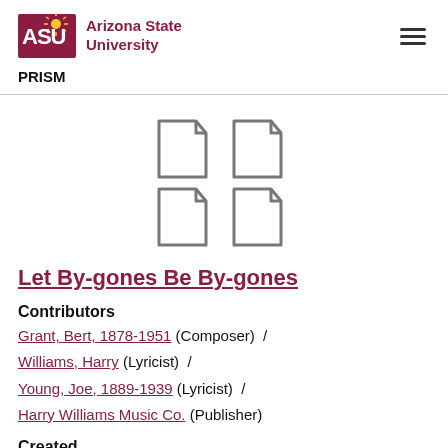ASU Arizona State University  PRISM
[Figure (illustration): Four document/file icons arranged in a 2x2 grid, grey outline style]
Let By-gones Be By-gones
Contributors
Grant, Bert, 1878-1951 (Composer) / Williams, Harry (Lyricist) / Young, Joe, 1889-1939 (Lyricist) / Harry Williams Music Co. (Publisher)
Created